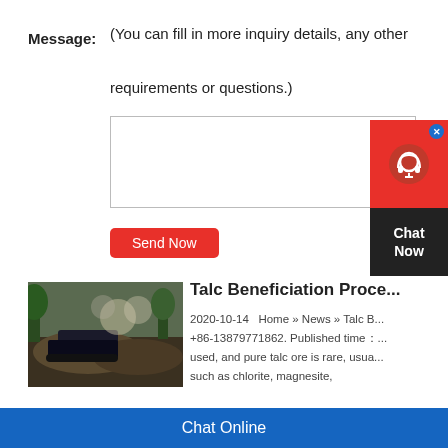Message:
(You can fill in more inquiry details, any other requirements or questions.)
[Figure (screenshot): Empty text area input box for message]
Send Now
[Figure (photo): Mining equipment with dirt mounds and dust in outdoor setting]
Talc Beneficiation Proce...
2020-10-14   Home » News » Talc B... +86-13879771862. Published time：... used, and pure talc ore is rare, usua... such as chlorite, magnesite,
[Figure (screenshot): Chat Now widget — red circle with headset icon and Chat Now text on dark background]
Chat Online